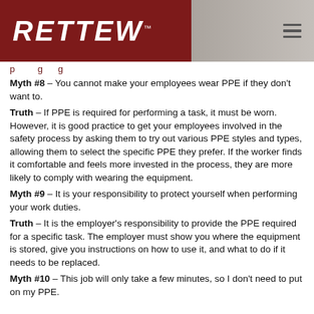RETTEW
p...g...g...
Myth #8 – You cannot make your employees wear PPE if they don't want to.
Truth – If PPE is required for performing a task, it must be worn. However, it is good practice to get your employees involved in the safety process by asking them to try out various PPE styles and types, allowing them to select the specific PPE they prefer. If the worker finds it comfortable and feels more invested in the process, they are more likely to comply with wearing the equipment.
Myth #9 – It is your responsibility to protect yourself when performing your work duties.
Truth – It is the employer's responsibility to provide the PPE required for a specific task. The employer must show you where the equipment is stored, give you instructions on how to use it, and what to do if it needs to be replaced.
Myth #10 – This job will only take a few minutes, so I don't need to put on my PPE.